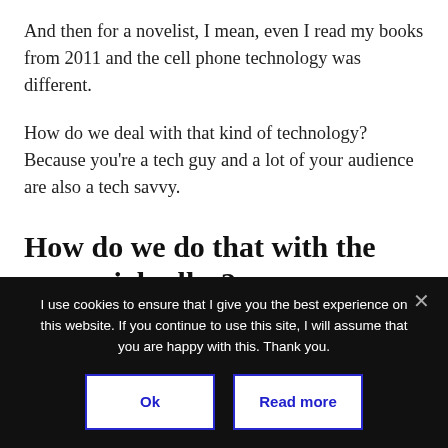And then for a novelist, I mean, even I read my books from 2011 and the cell phone technology was different.
How do we deal with that kind of technology? Because you're a tech guy and a lot of your audience are also a tech savvy.
How do we do that with the perennial seller?
I use cookies to ensure that I give you the best experience on this website. If you continue to use this site, I will assume that you are happy with this. Thank you.